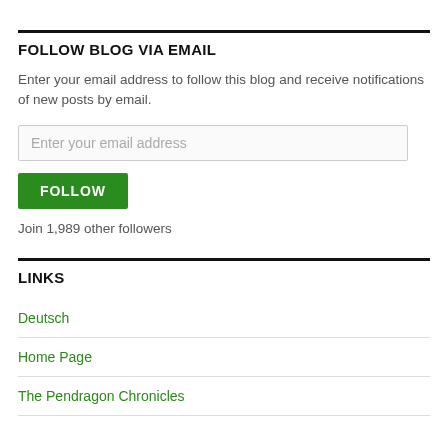FOLLOW BLOG VIA EMAIL
Enter your email address to follow this blog and receive notifications of new posts by email.
Enter your email address
FOLLOW
Join 1,989 other followers
LINKS
Deutsch
Home Page
The Pendragon Chronicles